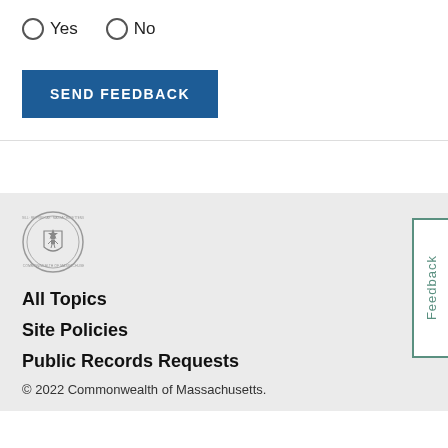Yes  No
SEND FEEDBACK
[Figure (logo): Massachusetts state seal, circular emblem in gray/white]
All Topics
Site Policies
Public Records Requests
© 2022 Commonwealth of Massachusetts.